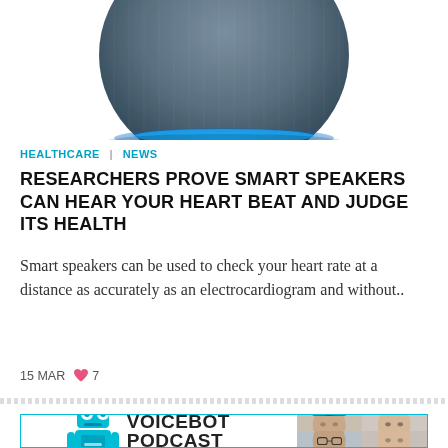[Figure (photo): Top portion of an Amazon Echo smart speaker (blue-gray fabric, with blue light ring at the bottom), cropped, on white background]
HEALTHCARE | NEWS
RESEARCHERS PROVE SMART SPEAKERS CAN HEAR YOUR HEART BEAT AND JUDGE ITS HEALTH
Smart speakers can be used to check your heart rate at a distance as accurately as an electrocardiogram and without..
15 MAR  ♥ 7
[Figure (infographic): The Voicebot Podcast with Bret Kinsella card: left side shows a blue robot mascot and the podcast title; right side shows a 2x2 grid of headshot photos of podcast guests]